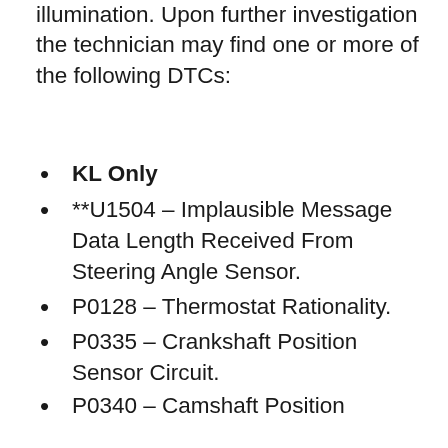illumination. Upon further investigation the technician may find one or more of the following DTCs:
KL Only
**U1504 – Implausible Message Data Length Received From Steering Angle Sensor.
P0128 – Thermostat Rationality.
P0335 – Crankshaft Position Sensor Circuit.
P0340 – Camshaft Position